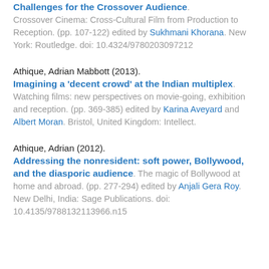Challenges for the Crossover Audience. Crossover Cinema: Cross-Cultural Film from Production to Reception. (pp. 107-122) edited by Sukhmani Khorana. New York: Routledge. doi: 10.4324/9780203097212
Athique, Adrian Mabbott (2013). Imagining a 'decent crowd' at the Indian multiplex. Watching films: new perspectives on movie-going, exhibition and reception. (pp. 369-385) edited by Karina Aveyard and Albert Moran. Bristol, United Kingdom: Intellect.
Athique, Adrian (2012). Addressing the nonresident: soft power, Bollywood, and the diasporic audience. The magic of Bollywood at home and abroad. (pp. 277-294) edited by Anjali Gera Roy. New Delhi, India: Sage Publications. doi: 10.4135/9788132113966.n15